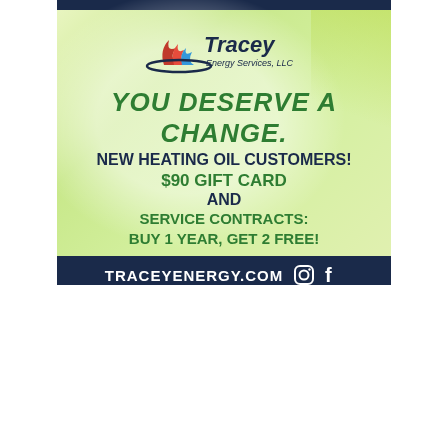[Figure (illustration): Tracey Energy Services LLC advertisement. Green gradient background with circular light motif. Logo at top center showing stylized flame/flag icon with 'Tracey Energy Services, LLC' text. Bold promotional text reading: YOU DESERVE A CHANGE. / NEW HEATING OIL CUSTOMERS! / $90 GIFT CARD / AND / SERVICE CONTRACTS: BUY 1 YEAR, GET 2 FREE! Dark navy footer bar with TRACEYENERGY.COM, Instagram icon, Facebook icon, and DELIVERING BIOHEAT HEATING OIL. Green bar at bottom.]